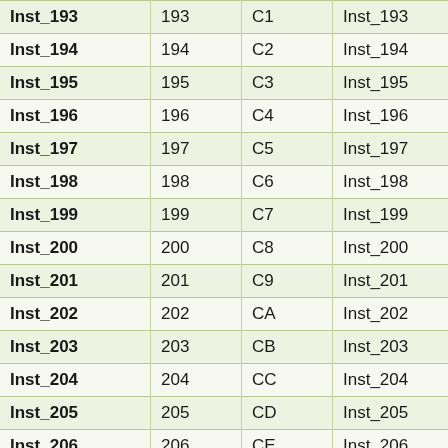| Inst_193 | 193 | C1 | Inst_193 |
| Inst_194 | 194 | C2 | Inst_194 |
| Inst_195 | 195 | C3 | Inst_195 |
| Inst_196 | 196 | C4 | Inst_196 |
| Inst_197 | 197 | C5 | Inst_197 |
| Inst_198 | 198 | C6 | Inst_198 |
| Inst_199 | 199 | C7 | Inst_199 |
| Inst_200 | 200 | C8 | Inst_200 |
| Inst_201 | 201 | C9 | Inst_201 |
| Inst_202 | 202 | CA | Inst_202 |
| Inst_203 | 203 | CB | Inst_203 |
| Inst_204 | 204 | CC | Inst_204 |
| Inst_205 | 205 | CD | Inst_205 |
| Inst_206 | 206 | CE | Inst_206 |
| Inst_207 | 207 | CF | Inst_207 |
| Inst_208 | 208 | D0 | Inst_208 |
| Inst_209 | 209 | D1 | Inst_209 |